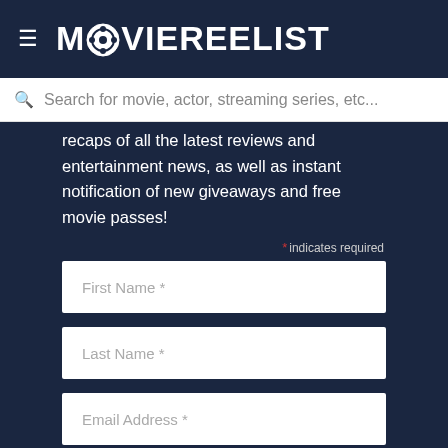MOVIEREELIST
Search for movie, actor, streaming series, etc...
recaps of all the latest reviews and entertainment news, as well as instant notification of new giveaways and free movie passes!
* indicates required
First Name *
Last Name *
Email Address *
By subscribing you agree to receive our promotional marketing materials and agree to our [redacted]. You may unsubscribe at any